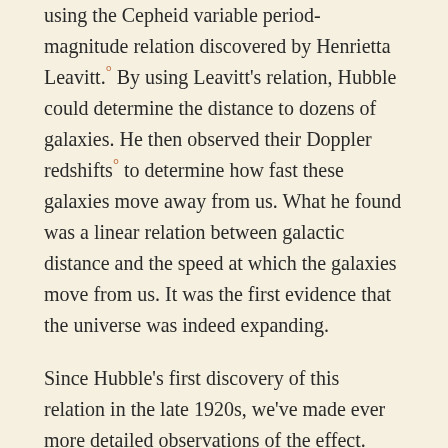using the Cepheid variable period-magnitude relation discovered by Henrietta Leavitt.° By using Leavitt's relation, Hubble could determine the distance to dozens of galaxies. He then observed their Doppler redshifts° to determine how fast these galaxies move away from us. What he found was a linear relation between galactic distance and the speed at which the galaxies move from us. It was the first evidence that the universe was indeed expanding.
Since Hubble's first discovery of this relation in the late 1920s, we've made ever more detailed observations of the effect. Using the brightness of distant supernovae° we can determine the distance of galaxies billion of light-years away. From this we found the universe is not